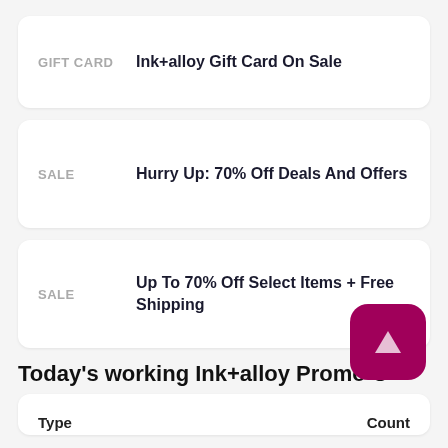GIFT CARD  Ink+alloy Gift Card On Sale
SALE  Hurry Up: 70% Off Deals And Offers
SALE  Up To 70% Off Select Items + Free Shipping
Today's working Ink+alloy Promo C…
| Type | Count |
| --- | --- |